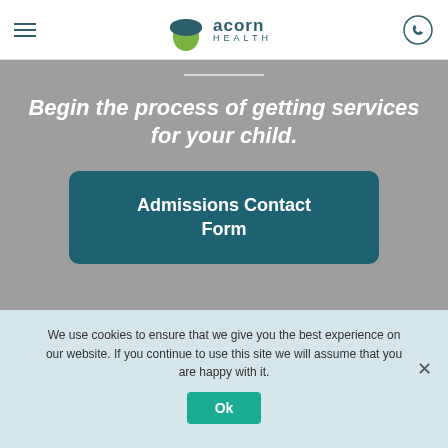[Figure (logo): Acorn Health logo with acorn icon and text 'acorn HEALTH']
Begin the process of getting services for your child.
Admissions Contact Form
We use cookies to ensure that we give you the best experience on our website. If you continue to use this site we will assume that you are happy with it.
Ok